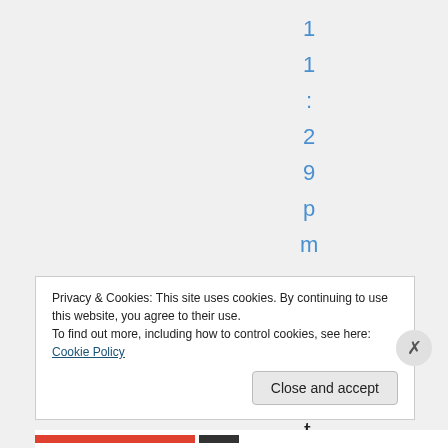11:29pm
That
Privacy & Cookies: This site uses cookies. By continuing to use this website, you agree to their use.
To find out more, including how to control cookies, see here: Cookie Policy
Close and accept